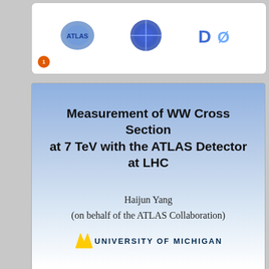[Figure (screenshot): Top slide thumbnail showing logos (ATLAS, a circular emblem, D0) with page number badge '1' in orange circle]
Measurement of WW Cross Section at 7 TeV with the ATLAS Detector at LHC
Haijun Yang
(on behalf of the ATLAS Collaboration)
[Figure (logo): University of Michigan block M logo in gold with 'UNIVERSITY OF MICHIGAN' text in dark blue]
APS/DPF Meeting, Brown University
August 9-13, 2011
[Figure (screenshot): Bottom slide thumbnail: Single-Top Cross Section Measurements at ATLAS by Patrick Ryan (Michigan State University) with green S logo]